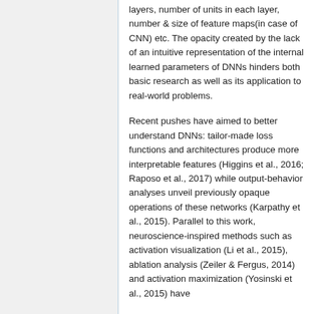layers, number of units in each layer, number & size of feature maps(in case of CNN) etc. The opacity created by the lack of an intuitive representation of the internal learned parameters of DNNs hinders both basic research as well as its application to real-world problems.
Recent pushes have aimed to better understand DNNs: tailor-made loss functions and architectures produce more interpretable features (Higgins et al., 2016; Raposo et al., 2017) while output-behavior analyses unveil previously opaque operations of these networks (Karpathy et al., 2015). Parallel to this work, neuroscience-inspired methods such as activation visualization (Li et al., 2015), ablation analysis (Zeiler & Fergus, 2014) and activation maximization (Yosinski et al., 2015) have